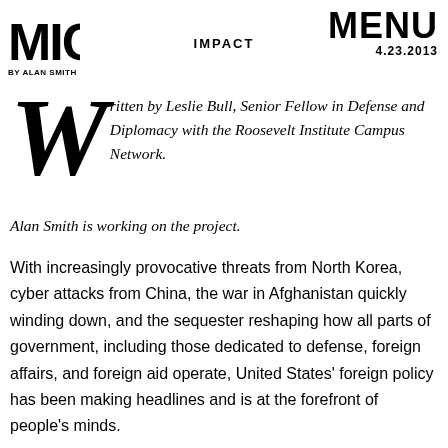MIC | BY ALAN SMITH | IMPACT | MENU 4.23.2013
Written by Leslie Bull, Senior Fellow in Defense and Diplomacy with the Roosevelt Institute Campus Network. Alan Smith is working on the project.
With increasingly provocative threats from North Korea, cyber attacks from China, the war in Afghanistan quickly winding down, and the sequester reshaping how all parts of government, including those dedicated to defense, foreign affairs, and foreign aid operate, United States' foreign policy has been making headlines and is at the forefront of people's minds.